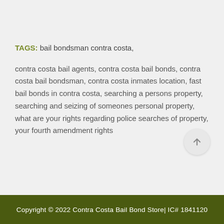TAGS: bail bondsman contra costa, contra costa bail agents, contra costa bail bonds, contra costa bail bondsman, contra costa inmates location, fast bail bonds in contra costa, searching a persons property, searching and seizing of someones personal property, what are your rights regarding police searches of property, your fourth amendment rights
Copyright © 2022 Contra Costa Bail Bond Store| IC# 1841120